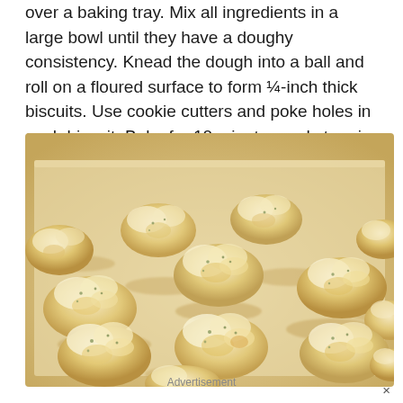over a baking tray. Mix all ingredients in a large bowl until they have a doughy consistency. Knead the dough into a ball and roll on a floured surface to form ¼-inch thick biscuits. Use cookie cutters and poke holes in each biscuit. Bake for 10 minutes and store in the refrigerator.
[Figure (photo): Close-up photo of multiple golden-brown drop biscuits on a parchment-lined baking tray, showing fluffy textured tops with herbs.]
Advertisement ×